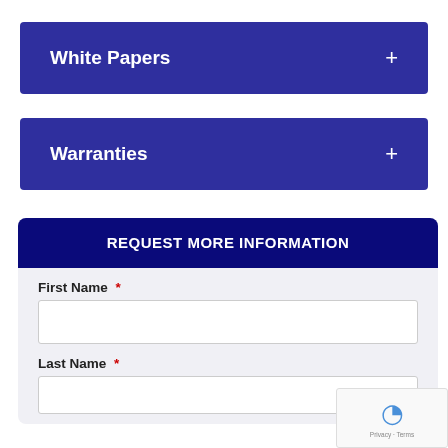White Papers +
Warranties +
REQUEST MORE INFORMATION
First Name *
Last Name *